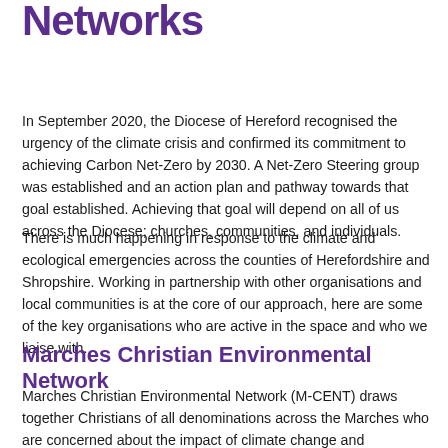Networks
In September 2020, the Diocese of Hereford recognised the urgency of the climate crisis and confirmed its commitment to achieving Carbon Net-Zero by 2030. A Net-Zero Steering group was established and an action plan and pathway towards that goal established. Achieving that goal will depend on all of us across the Diocese; churches, communities, and individuals.
There is much happening in response to the climate and ecological emergencies across the counties of Herefordshire and Shropshire. Working in partnership with other organisations and local communities is at the core of our approach, here are some of the key organisations who are active in the space and who we liaise with.
Marches Christian Environmental Network
Marches Christian Environmental Network (M-CENT) draws together Christians of all denominations across the Marches who are concerned about the impact of climate change and protecting our environment.